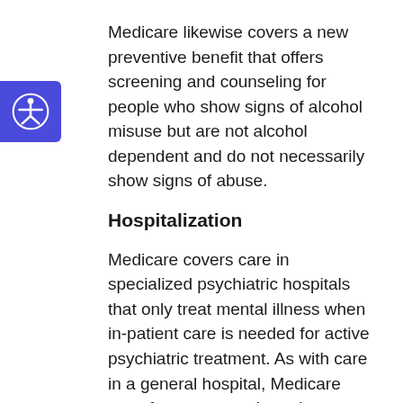Medicare likewise covers a new preventive benefit that offers screening and counseling for people who show signs of alcohol misuse but are not alcohol dependent and do not necessarily show signs of abuse.
Hospitalization
Medicare covers care in specialized psychiatric hospitals that only treat mental illness when in-patient care is needed for active psychiatric treatment. As with care in a general hospital, Medicare pays for necessary in-patient hospitalization for up to 90 days per benefit period. Medicare beneficiaries who need to be in a hospital for more than 90 days are entitled to...